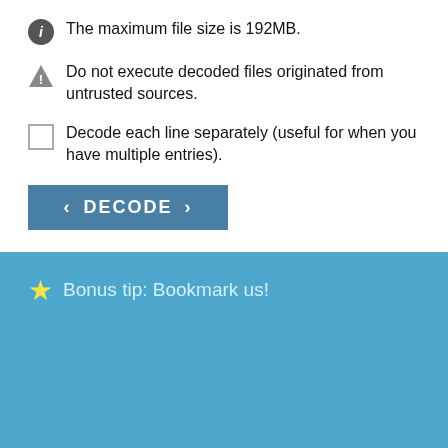The maximum file size is 192MB.
Do not execute decoded files originated from untrusted sources.
Decode each line separately (useful for when you have multiple entries).
DECODE
⭐ Bonus tip: Bookmark us!